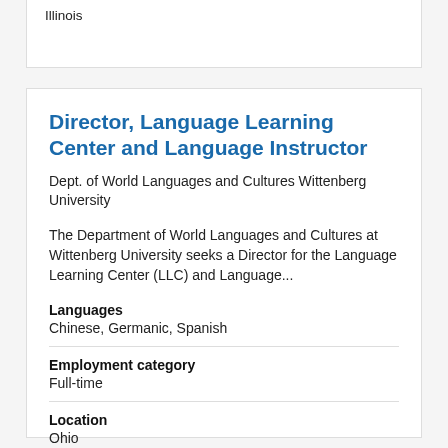Illinois
Director, Language Learning Center and Language Instructor
Dept. of World Languages and Cultures Wittenberg University
The Department of World Languages and Cultures at Wittenberg University seeks a Director for the Language Learning Center (LLC) and Language...
Languages
Chinese, Germanic, Spanish
Employment category
Full-time
Location
Ohio